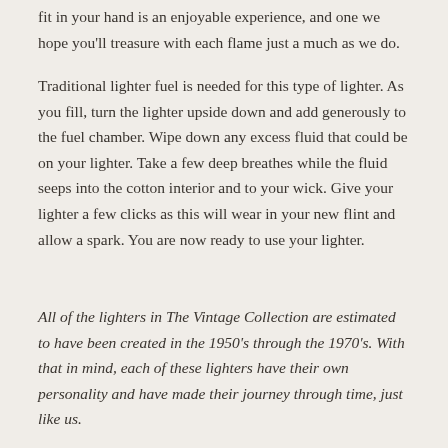fit in your hand is an enjoyable experience, and one we hope you'll treasure with each flame just a much as we do.
Traditional lighter fuel is needed for this type of lighter. As you fill, turn the lighter upside down and add generously to the fuel chamber. Wipe down any excess fluid that could be on your lighter. Take a few deep breathes while the fluid seeps into the cotton interior and to your wick. Give your lighter a few clicks as this will wear in your new flint and allow a spark. You are now ready to use your lighter.
All of the lighters in The Vintage Collection are estimated to have been created in the 1950's through the 1970's. With that in mind, each of these lighters have their own personality and have made their journey through time, just like us.
Every lighter will require tenderness within its new home, we encourage you to be gentle with it. Routine care will be needed when it comes to replacing your wick, flint and ensuring proper use of your